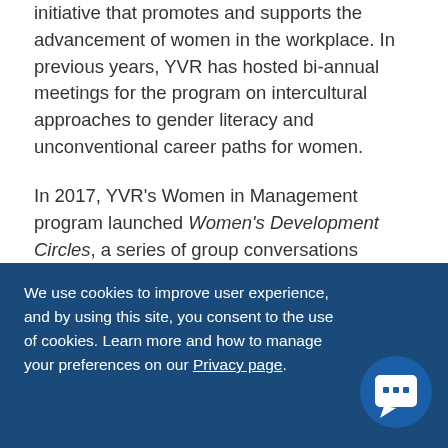initiative that promotes and supports the advancement of women in the workplace. In previous years, YVR has hosted bi-annual meetings for the program on intercultural approaches to gender literacy and unconventional career paths for women.
In 2017, YVR's Women in Management program launched Women's Development Circles, a series of group conversations targeting women in non-management roles. Women participate in discussions moderated by a woman in a senior leadership role and have an opportunity to explore a wide range of topics from work-life balance to tangible careers advice.
We use cookies to improve user experience, and by using this site, you consent to the use of cookies. Learn more and how to manage your preferences on our Privacy page.